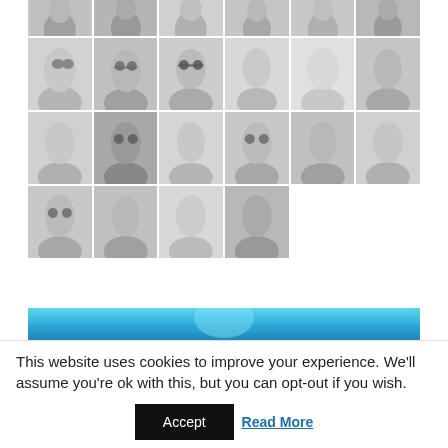[Figure (photo): Grid of black-and-white professional headshots arranged in 4 rows. Row 1 has 6 portraits cropped at top. Row 2 has 6 portraits. Row 3 has 6 portraits. Row 4 has 4 portraits. Total approximately 22 individuals.]
[Figure (photo): Partial blue banner/image visible at the bottom of the photo grid, with light blue gradient and a faint circular/globe element.]
This website uses cookies to improve your experience. We'll assume you're ok with this, but you can opt-out if you wish.
Accept   Read More